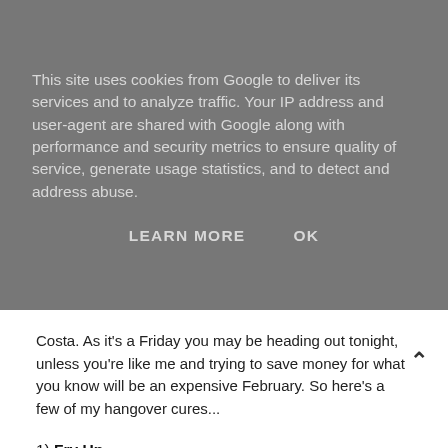This site uses cookies from Google to deliver its services and to analyze traffic. Your IP address and user-agent are shared with Google along with performance and security metrics to ensure quality of service, generate usage statistics, and to detect and address abuse.
LEARN MORE   OK
Costa. As it's a Friday you may be heading out tonight, unless you're like me and trying to save money for what you know will be an expensive February. So here's a few of my hangover cures...
1) Fry Up
You should get up and have a fry up! Sam makes an amazing fry up, and this is one he made for me a couple of weeks ago. The best thing to do on a hangover is to make a massive meal and sit in front of the TV. My favourite things to watch on a hangover are Made in Chelsea and The Only Way is Essex because you don't have to pay close attention to know what is going on.
2) Cake
Follow the fry up with some cake. I had this Sticky Toffee Pudding from